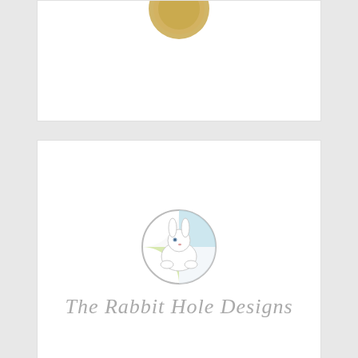[Figure (logo): Partial top card showing gold/tan circular logo element at top]
[Figure (logo): The Rabbit Hole Designs logo: circular rabbit illustration with script text 'The Rabbit Hole Designs' in grey italic below]
[Figure (logo): Gina K. Designs logo on light blue-grey background with teal text 'gina k.' and 'DESIGNS' below]